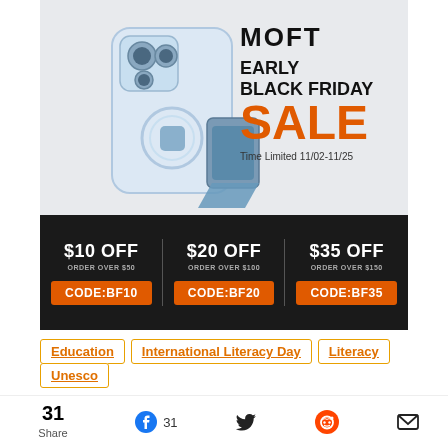[Figure (infographic): MOFT Early Black Friday Sale advertisement. Shows phone case and stand products on light gray background. Right side shows brand name MOFT, text 'EARLY BLACK FRIDAY SALE' (SALE in large orange), and 'Time Limited 11/02-11/25'. Below: dark bar with three discount offers: $10 OFF order over $50 CODE:BF10, $20 OFF order over $100 CODE:BF20, $35 OFF order over $150 CODE:BF35.]
Education
International Literacy Day
Literacy
Unesco
31 Share  31